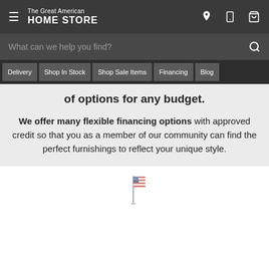The Great American HOME STORE — navigation bar with hamburger menu, logo, location, phone, and cart icons
What can we help you find?
Delivery | Shop In Stock | Shop Sale Items | Financing | Blog
of options for any budget.
We offer many flexible financing options with approved credit so that you as a member of our community can find the perfect furnishings to reflect your unique style.
[Figure (illustration): Small American flag illustration at the bottom of the page]